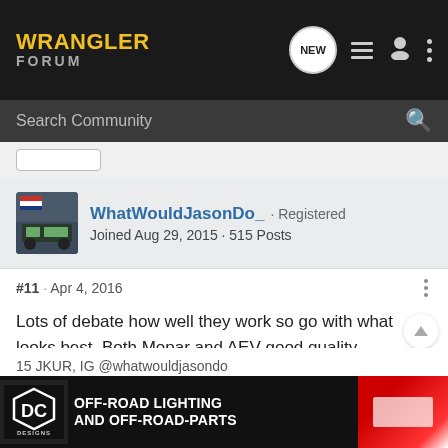WRANGLER FORUM
Search Community
WhatWouldJasonDo_ · Registered
Joined Aug 29, 2015 · 515 Posts
#11 · Apr 4, 2016
Lots of debate how well they work so go with what looks best. Both Mopar and AEV good quality.
15 JKUR, IG @whatwouldjasondo
[Figure (screenshot): DC Designs advertisement banner: OFF-ROAD LIGHTING AND OFF-ROAD-PARTS]